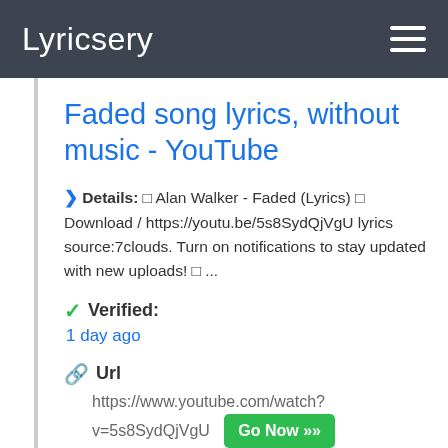Lyricsery
Faded song lyrics, without music - YouTube
Details: □ Alan Walker - Faded (Lyrics) □ Download / https://youtu.be/5s8SydQjVgU lyrics source:7clouds. Turn on notifications to stay updated with new uploads! □ ...
Verified:
1 day ago
Url
https://www.youtube.com/watch?v=5s8SydQjVgU  Go Now »
More  martha lyrics